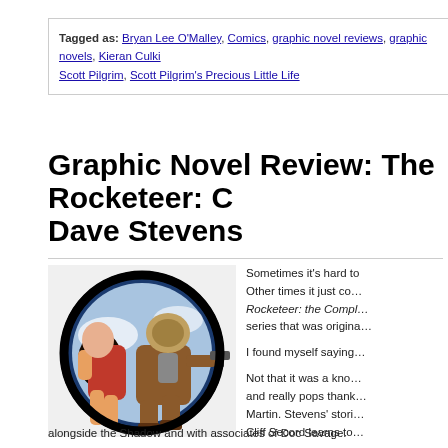Tagged as: Bryan Lee O'Malley, Comics, graphic novel reviews, graphic novels, Kieran Culkin, Scott Pilgrim, Scott Pilgrim's Precious Little Life
Graphic Novel Review: The Rocketeer: C... Dave Stevens
[Figure (illustration): Comic book cover art showing The Rocketeer character in brown leather jacket and rocket helmet holding a gun, carrying a woman in a red outfit with long black hair, set against a circular black and blue background.]
Sometimes it's hard to... Other times it just co... Rocketeer: the Compl... series that was origina...
I found myself saying...
Not that it was a kno... and really pops thank... Martin. Stevens' stori... Cliff Secord learns to...
Stevens does an excel... in the second story "O... incorporated his hero...
alongside the Shadow and with associates of Doc Savage.
But that's the final story. There's only two...